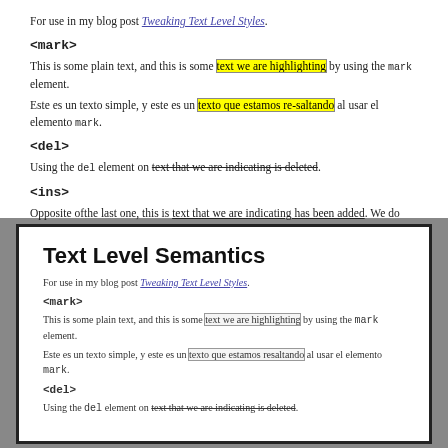For use in my blog post Tweaking Text Level Styles.
<mark>
This is some plain text, and this is some text we are highlighting by using the mark element.
Este es un texto simple, y este es un texto que estamos re-saltando al usar el elemento mark.
<del>
Using the del element on text that we are indicating is deleted.
<ins>
Opposite ofthe last one, this is text that we are indicating has been added. We do this with the ins element.
<s>
This is an example of text that is not longer relevant. We do this with the s element.
Text Level Semantics
For use in my blog post Tweaking Text Level Styles.
<mark>
This is some plain text, and this is some text we are highlighting by using the mark element.
Este es un texto simple, y este es un texto que estamos resaltando al usar el elemento mark.
<del>
Using the del element on text that we are indicating is deleted.